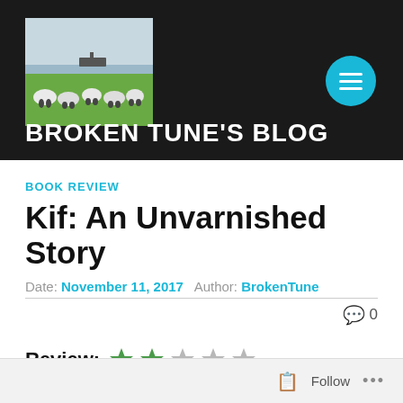[Figure (photo): Blog header banner with dark background. Left side shows a photo of sheep grazing on green grass near a waterfront. Right side has a teal/cyan circular menu button with three horizontal lines (hamburger icon).]
BROKEN TUNE'S BLOG
BOOK REVIEW
Kif: An Unvarnished Story
Date: November 11, 2017  Author: BrokenTune
0 comments
Review: 2 out of 5 stars
Follow